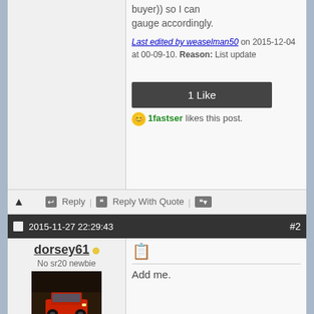buyer)) so I can gauge accordingly.
Last edited by weaselman50 on 2015-12-04 at 00-09-10. Reason: List update
1 Like
1fastser likes this post.
Reply | Reply With Quote
2015-11-27 22:29:43   #2
dorsey61
No sr20 newbie
[Figure (photo): Avatar photo of a red car in a garage/workshop]
Add me.